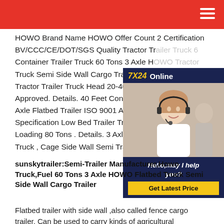HOWO Brand Name HOWO Offer Count 2 Certification BV/CCC/CE/DOT/SGS Quality Tractor Truck, Container Trailer Truck 60 Tons 3 Axle H... Truck Semi Side Wall Cargo Trailer4x2 6... Tractor Trailer Truck Head 20-40 Tons L... Approved. Details. 40 Feet Container De... Axle Flatbed Trailer ISO 9001 Approved... Specification Low Bed Trailer Truck 4 Ax... Loading 80 Tons . Details. 3 Axle 40-60... Truck , Cage Side Wall Semi Trailer With...
[Figure (photo): Customer service representative chat widget with '7X24 Online' header, photo of woman with headset, 'Hello,may I help you?' text and 'Get Latest Price' button]
sunskytrailer:Semi-Trailer Manufacturer,Howo Truck,Fuel 60 Tons 3 Axle HOWO Flatbed Truck Semi Side Wall Cargo Trailer
Flatbed trailer with side wall ,also called fence cargo trailer. Can be used to carry kinds of agricultural